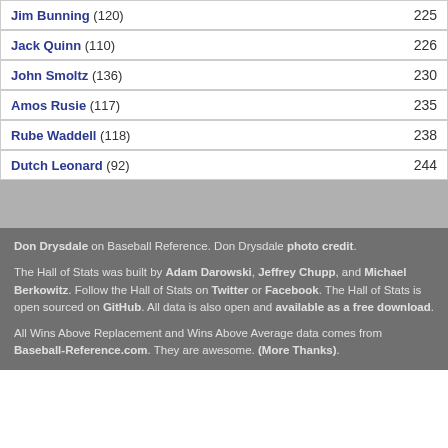Jim Bunning (120) 225
Jack Quinn (110) 226
John Smoltz (136) 230
Amos Rusie (117) 235
Rube Waddell (118) 238
Dutch Leonard (92) 244
Don Drysdale on Baseball Reference. Don Drysdale photo credit.
The Hall of Stats was built by Adam Darowski, Jeffrey Chupp, and Michael Berkowitz. Follow the Hall of Stats on Twitter or Facebook. The Hall of Stats is open sourced on GitHub. All data is also open and available as a free download.
All Wins Above Replacement and Wins Above Average data comes from Baseball-Reference.com. They are awesome. (More Thanks).